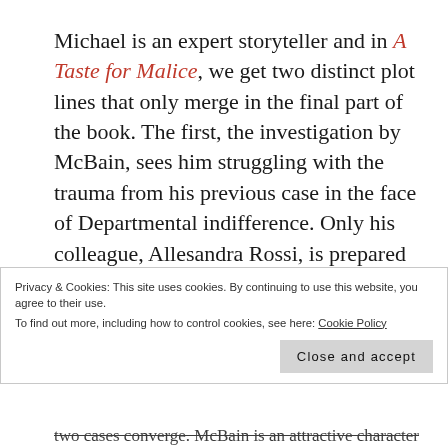Michael is an expert storyteller and in A Taste for Malice, we get two distinct plot lines that only merge in the final part of the book. The first, the investigation by McBain, sees him struggling with the trauma from his previous case in the face of Departmental indifference. Only his colleague, Allesandra Rossi, is prepared to assist him as he attempts to dig deeper
Privacy & Cookies: This site uses cookies. By continuing to use this website, you agree to their use. To find out more, including how to control cookies, see here: Cookie Policy
two cases converge. McBain is an attractive character